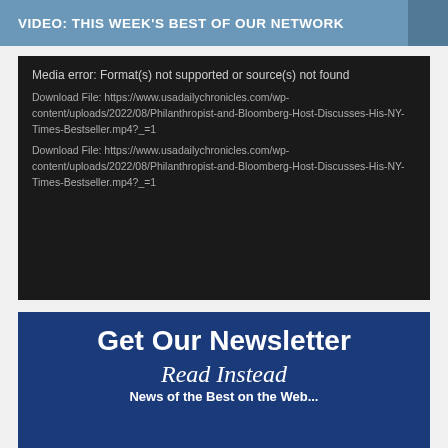VIDEO: THIS WEEK'S BEST OF OUR NETWORK
[Figure (screenshot): Media error box with black background showing error message: 'Media error: Format(s) not supported or source(s) not found' and two download file links to usadailychronicles.com mp4 file]
[Figure (infographic): Dark blue newsletter signup banner with text 'Get Our Newsletter', 'Read Instead', and partial tagline text]